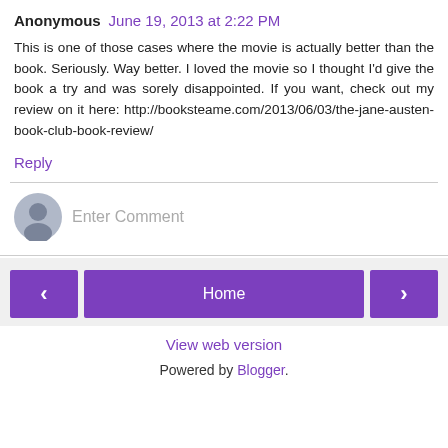Anonymous  June 19, 2013 at 2:22 PM
This is one of those cases where the movie is actually better than the book. Seriously. Way better. I loved the movie so I thought I'd give the book a try and was sorely disappointed. If you want, check out my review on it here: http://booksteame.com/2013/06/03/the-jane-austen-book-club-book-review/
Reply
Enter Comment
Home
View web version
Powered by Blogger.